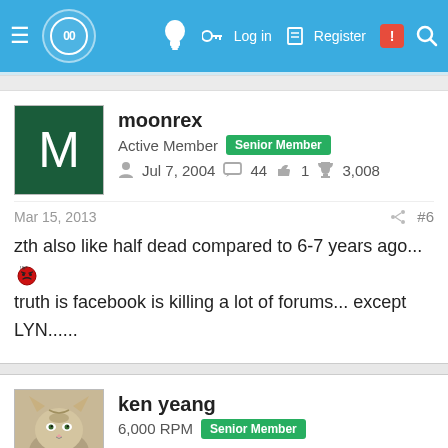Navigation bar with logo, lightbulb icon, Log in, Register, notifications, search
moonrex
Active Member  Senior Member
Jul 7, 2004  44  1  3,008
Mar 15, 2013  #6
zth also like half dead compared to 6-7 years ago...
truth is facebook is killing a lot of forums... except LYN......
ken yeang
6,000 RPM  Senior Member
Feb 2, 2006  6,618  1,327  1,713
Mar 17, 2013  #7